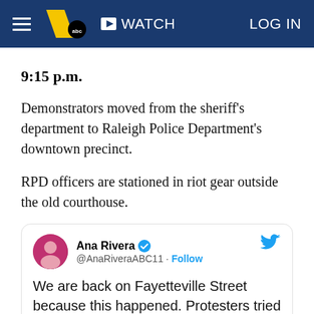≡ [WTVD 11 ABC logo] ▶ WATCH   LOG IN
9:15 p.m.
Demonstrators moved from the sheriff's department to Raleigh Police Department's downtown precinct.
RPD officers are stationed in riot gear outside the old courthouse.
[Figure (screenshot): Embedded tweet from Ana Rivera (@AnaRiveraABC11) with verified badge and Follow link. Tweet text: 'We are back on Fayetteville Street because this happened. Protesters tried to take down the gates on front of the']